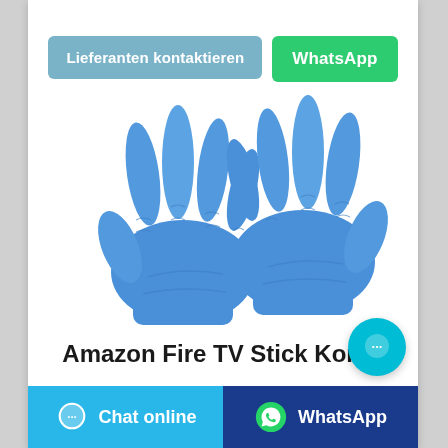[Figure (other): Two blue nitrile disposable gloves displayed side by side on white background]
Lieferanten kontaktieren
WhatsApp
Amazon Fire TV Stick Konto
Chat online
WhatsApp